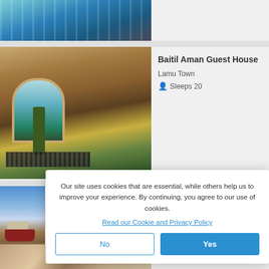[Figure (photo): Partial top image showing colorful market or building with blue/teal tones]
[Figure (photo): Interior of Baitil Aman Guest House showing archway with palm tree view and decorative grill]
Baitil Aman Guest House
Lamu Town
Sleeps 20
[Figure (photo): Partial image of boat on beach with sky]
Our site uses cookies that are essential, while others help us to improve your experience. By continuing, you agree to our use of cookies.
Read our Cookie and Privacy Policy
No
Yes
Filters
Forodhani House